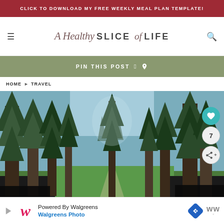CLICK TO DOWNLOAD MY FREE WEEKLY MEAL PLAN TEMPLATE!
[Figure (logo): A Healthy Slice of Life blog logo with script and sans-serif text]
PIN THIS POST
HOME ▸ TRAVEL
[Figure (photo): Forest of tall pine trees with a path leading through them, green meadow visible between trunks, blue sky above]
Powered By Walgreens Walgreens Photo